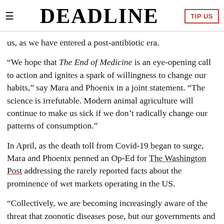DEADLINE
us, as we have entered a post-antibiotic era.
“We hope that The End of Medicine is an eye-opening call to action and ignites a spark of willingness to change our habits,” say Mara and Phoenix in a joint statement. “The science is irrefutable. Modern animal agriculture will continue to make us sick if we don’t radically change our patterns of consumption.”
In April, as the death toll from Covid-19 began to surge, Mara and Phoenix penned an Op-Ed for The Washington Post addressing the rarely reported facts about the prominence of wet markets operating in the US.
“Collectively, we are becoming increasingly aware of the threat that zoonotic diseases pose, but our governments and the mainstream media predominantly focus on fire fighting rather than prevention,” Lockwood said. “With this film, we hope to shine a light on the extent to which animal agriculture and environmental